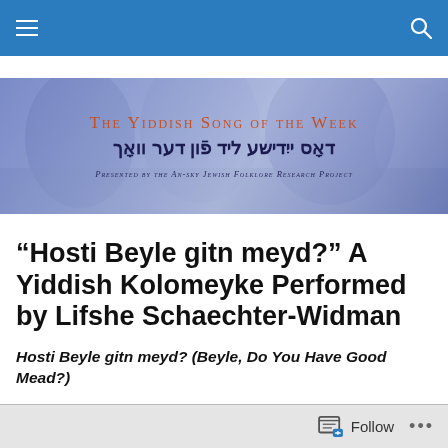Navigation bar with hamburger menu and search icon
[Figure (illustration): Banner image for 'The Yiddish Song of the Week' blog with blurred background of people and blue/purple gradient overlay. Contains English title 'The Yiddish Song of the Week' in orange small-caps, Yiddish title in dark blue Hebrew script, and subtitle 'Presented by the An-sky Jewish Folklore Research Project'.]
“Hosti Beyle gitn meyd?” A Yiddish Kolomeyke Performed by Lifshe Schaechter-Widman
Hosti Beyle gitn meyd? (Beyle, Do You Have Good Mead?)
Follow